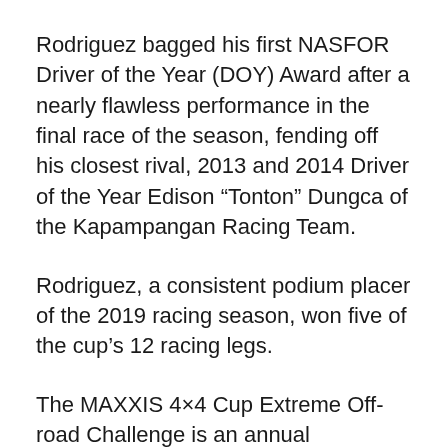Rodriguez bagged his first NASFOR Driver of the Year (DOY) Award after a nearly flawless performance in the final race of the season, fending off his closest rival, 2013 and 2014 Driver of the Year Edison “Tonton” Dungca of the Kapampangan Racing Team.
Rodriguez, a consistent podium placer of the 2019 racing season, won five of the cup’s 12 racing legs.
The MAXXIS 4×4 Cup Extreme Off-road Challenge is an annual motorsport event co-presented by North Trend Marketing Corporation, the official distributor of MAXXIS Tires in the Philippines.